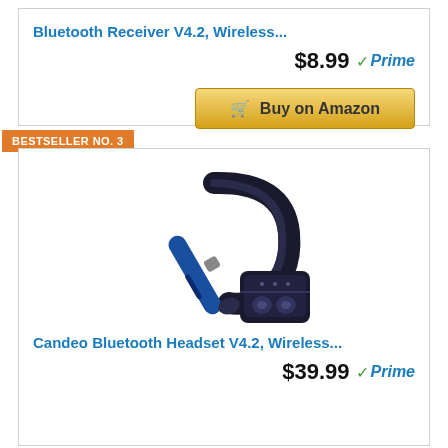Bluetooth Receiver V4.2, Wireless...
$8.99 ✓Prime
[Figure (other): Buy on Amazon button with shopping cart icon]
BESTSELLER NO. 3
[Figure (photo): Candeo Bluetooth Headset V4.2 - blue over-ear wireless headset with charging case]
Candeo Bluetooth Headset V4.2, Wireless...
$39.99 ✓Prime